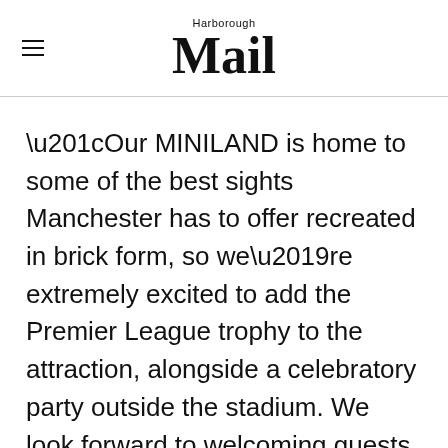Harborough Mail
“Our MINILAND is home to some of the best sights Manchester has to offer recreated in brick form, so we’re extremely excited to add the Premier League trophy to the attraction, alongside a celebratory party outside the stadium. We look forward to welcoming guests into the attraction to continue the Man City celebrations with us.”
To book tickets to visit the attraction and witness the trophy and party parade at